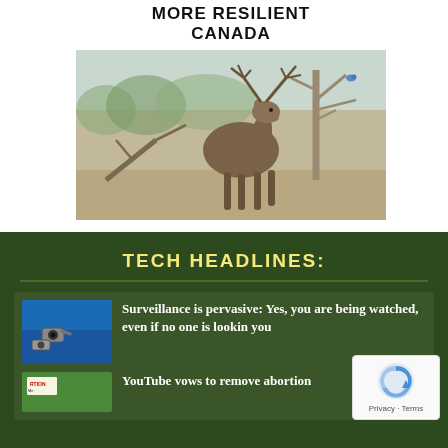[Figure (photo): A deer/stag standing in a barren field with bare trees, antlers merging into tree branches. Text overlay at top reads MORE RESILIENT CANADA in bold black letters on white background.]
TECH HEADLINES:
[Figure (photo): Thumbnail showing surveillance cameras on a blue background]
Surveillance is pervasive: Yes, you are being watched, even if no one is looking you
[Figure (photo): Thumbnail showing abortion protest signs]
YouTube vows to remove abortion